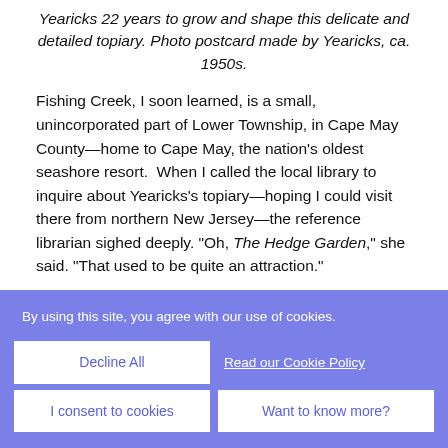Yearicks 22 years to grow and shape this delicate and detailed topiary. Photo postcard made by Yearicks, ca. 1950s.
Fishing Creek, I soon learned, is a small, unincorporated part of Lower Township, in Cape May County—home to Cape May, the nation's oldest seashore resort.  When I called the local library to inquire about Yearicks's topiary—hoping I could visit there from northern New Jersey—the reference librarian sighed deeply. "Oh, The Hedge Garden," she said. "That used to be quite an attraction."
I was already too late. Now I traveled to the library to
By using this site, you agree with our use of cookies.
Decline All
Read our Cookie Policy
I consent to cookies
Want to know more?